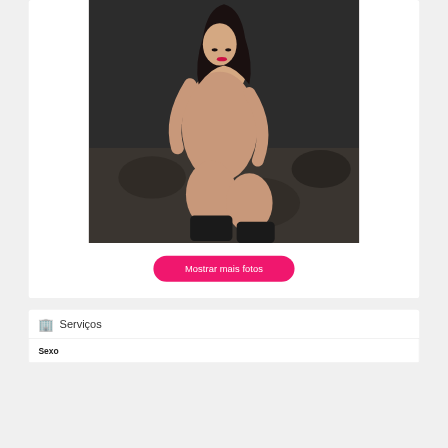[Figure (photo): A woman posing on a dark floral couch, wearing black heeled boots, dark hair, red lips]
Mostrar mais fotos
Serviços
Sexo